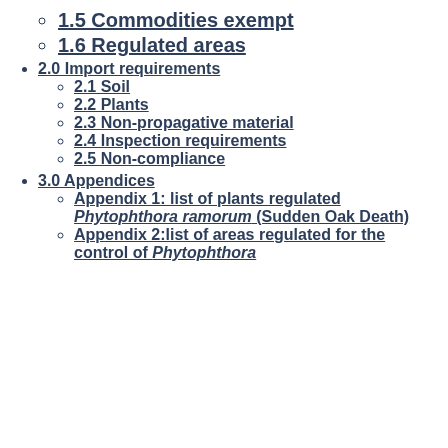1.5 Commodities exempt
1.6 Regulated areas
2.0 Import requirements
2.1 Soil
2.2 Plants
2.3 Non-propagative material
2.4 Inspection requirements
2.5 Non-compliance
3.0 Appendices
Appendix 1: list of plants regulated Phytophthora ramorum (Sudden Oak Death)
Appendix 2:list of areas regulated for the control of Phytophthora